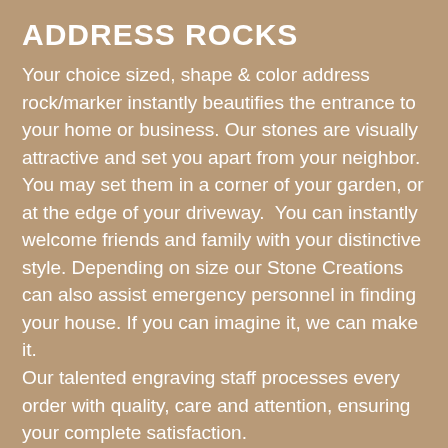ADDRESS ROCKS
Your choice sized, shape & color address rock/marker instantly beautifies the entrance to your home or business. Our stones are visually attractive and set you apart from your neighbor. You may set them in a corner of your garden, or at the edge of your driveway.  You can instantly welcome friends and family with your distinctive style. Depending on size our Stone Creations can also assist emergency personnel in finding your house. If you can imagine it, we can make it.
Our talented engraving staff processes every order with quality, care and attention, ensuring your complete satisfaction.